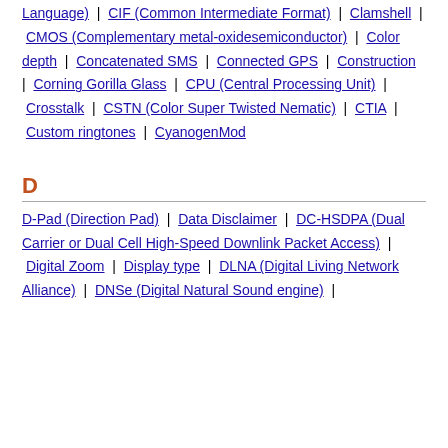Cell | Chipset | cHTML (Compact Hypertext Markup Language) | CIF (Common Intermediate Format) | Clamshell | CMOS (Complementary metal-oxidesemiconductor) | Color depth | Concatenated SMS | Connected GPS | Construction | Corning Gorilla Glass | CPU (Central Processing Unit) | Crosstalk | CSTN (Color Super Twisted Nematic) | CTIA | Custom ringtones | CyanogenMod
D
D-Pad (Direction Pad) | Data Disclaimer | DC-HSDPA (Dual Carrier or Dual Cell High-Speed Downlink Packet Access) | Digital Zoom | Display type | DLNA (Digital Living Network Alliance) | DNSe (Digital Natural Sound engine) | DRM (Digital Rights Management) | Dumbphone